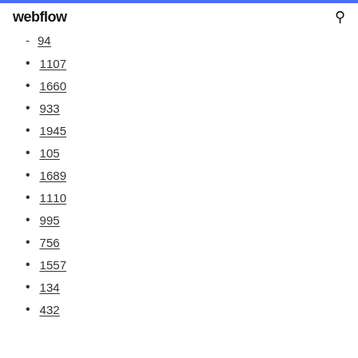webflow
94
1107
1660
933
1945
105
1689
1110
995
756
1557
134
432